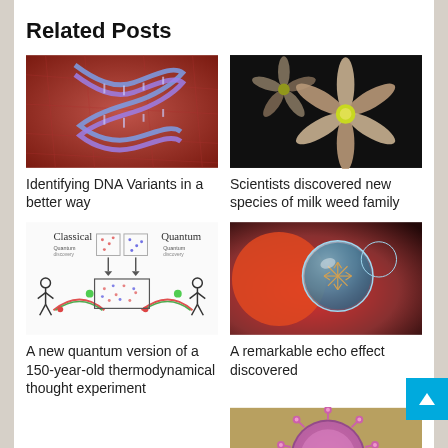Related Posts
[Figure (photo): Microscopic image of a DNA double helix structure over red fibrous background]
[Figure (photo): Close-up macro photo of a star-shaped pink flower on dark background]
Identifying DNA Variants in a better way
Scientists discovered new species of milk weed family
[Figure (illustration): Hand-drawn diagram comparing Classical and Quantum systems with stick figures and arrows]
[Figure (photo): Close-up of optical lenses with a detailed snowflake-like structure visible in a water droplet]
A new quantum version of a 150-year-old thermodynamical thought experiment
A remarkable echo effect discovered
[Figure (photo): Macro photo of a pink spiky coronavirus or pollen particle on blurred background]